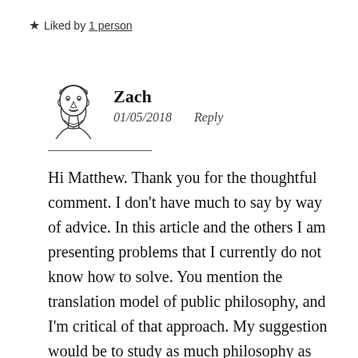★ Liked by 1 person
[Figure (illustration): Hand-drawn style avatar illustration of a man with a beard and short hair]
Zach
01/05/2018    Reply
Hi Matthew. Thank you for the thoughtful comment. I don't have much to say by way of advice. In this article and the others I am presenting problems that I currently do not know how to solve. You mention the translation model of public philosophy, and I'm critical of that approach. My suggestion would be to study as much philosophy as you can. Step outside the